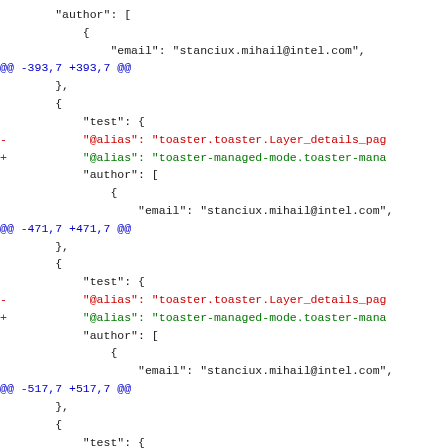Code diff showing JSON file changes with @alias fields being updated from toaster.toaster.* to toaster-managed-mode.toaster-mana* patterns across multiple diff hunks at lines -393,7 +393,7, -471,7 +471,7, and -517,7 +517,7